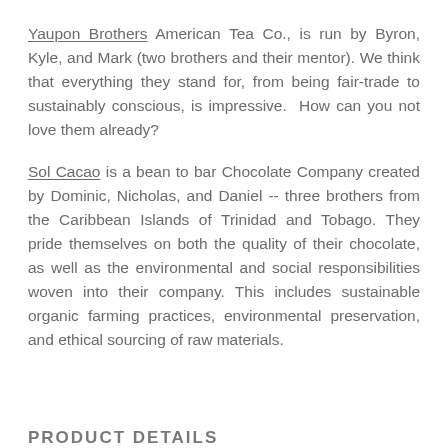Yaupon Brothers American Tea Co., is run by Byron, Kyle, and Mark (two brothers and their mentor). We think that everything they stand for, from being fair-trade to sustainably conscious, is impressive.  How can you not love them already?
Sol Cacao is a bean to bar Chocolate Company created by Dominic, Nicholas, and Daniel -- three brothers from the Caribbean Islands of Trinidad and Tobago. They pride themselves on both the quality of their chocolate, as well as the environmental and social responsibilities woven into their company. This includes sustainable organic farming practices, environmental preservation, and ethical sourcing of raw materials.
PRODUCT DETAILS